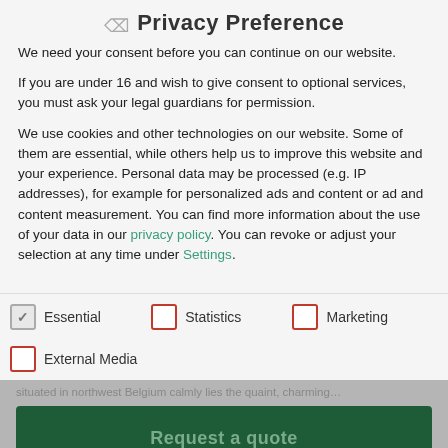Privacy Preference
We need your consent before you can continue on our website.
If you are under 16 and wish to give consent to optional services, you must ask your legal guardians for permission.
We use cookies and other technologies on our website. Some of them are essential, while others help us to improve this website and your experience. Personal data may be processed (e.g. IP addresses), for example for personalized ads and content or ad and content measurement. You can find more information about the use of your data in our privacy policy. You can revoke or adjust your selection at any time under Settings.
Essential (checked)
Statistics (unchecked)
Marketing (unchecked)
External Media (unchecked)
situated in northwest Belgium calmly lies the quaint, charming…
Request a quote